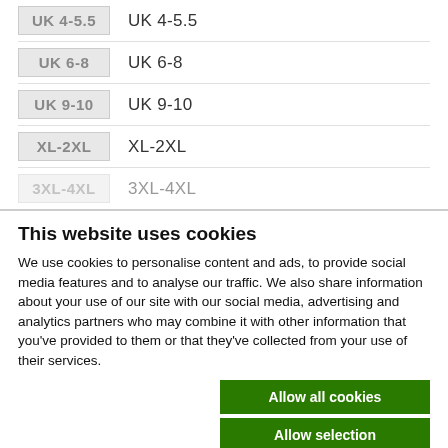UK 4-5.5
UK 6-8
UK 9-10
XL-2XL
3XL-4XL
This website uses cookies
We use cookies to personalise content and ads, to provide social media features and to analyse our traffic. We also share information about your use of our site with our social media, advertising and analytics partners who may combine it with other information that you've provided to them or that they've collected from your use of their services.
Allow all cookies
Allow selection
Use necessary cookies only
Necessary  Preferences  Statistics  Marketing  Show details